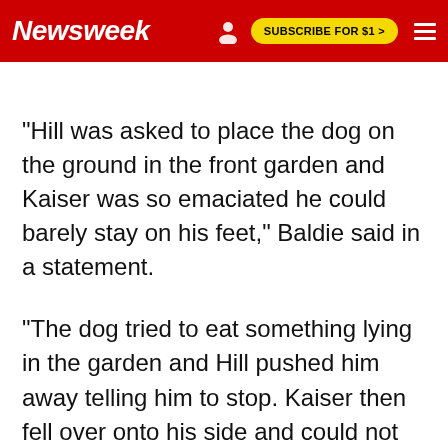Newsweek | SUBSCRIBE FOR $1 >
"Hill was asked to place the dog on the ground in the front garden and Kaiser was so emaciated he could barely stay on his feet," Baldie said in a statement.
"The dog tried to eat something lying in the garden and Hill pushed him away telling him to stop. Kaiser then fell over onto his side and could not get back to his feet without the aid of